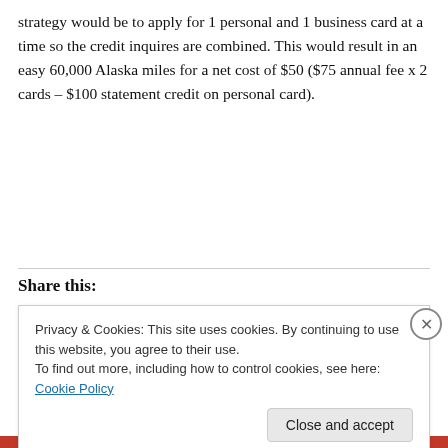strategy would be to apply for 1 personal and 1 business card at a time so the credit inquires are combined. This would result in an easy 60,000 Alaska miles for a net cost of $50 ($75 annual fee x 2 cards – $100 statement credit on personal card).
Share this:
Privacy & Cookies: This site uses cookies. By continuing to use this website, you agree to their use.
To find out more, including how to control cookies, see here: Cookie Policy